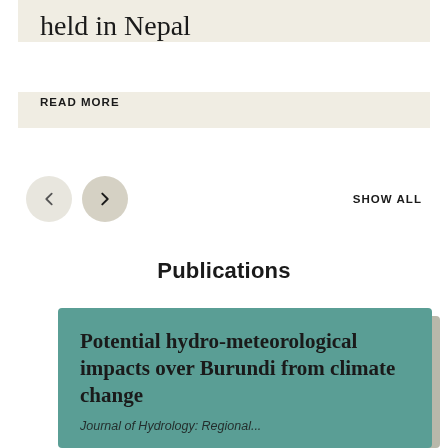held in Nepal
READ MORE
[Figure (other): Navigation buttons: left arrow (inactive) and right arrow (active), with SHOW ALL link]
Publications
Potential hydro-meteorological impacts over Burundi from climate change
Journal of Hydrology: Regional...